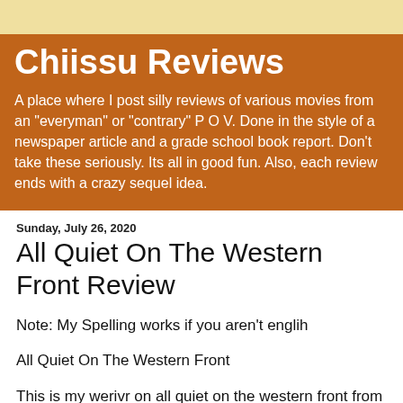Chiissu Reviews
A place where I post silly reviews of various movies from an "everyman" or "contrary" P O V. Done in the style of a newspaper article and a grade school book report. Don't take these seriously. Its all in good fun. Also, each review ends with a crazy sequel idea.
Sunday, July 26, 2020
All Quiet On The Western Front Review
Note: My Spelling works if you aren't englih
All Quiet On The Western Front
This is my werivr on all quiet on the western front from 1930